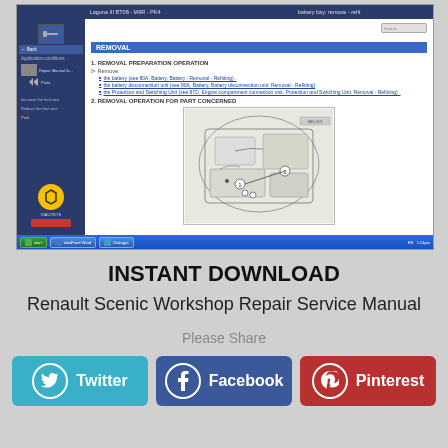[Figure (screenshot): Screenshot of a Renault Laguna III workshop repair manual software showing a REMOVAL page with navigation sidebar, removal preparation operations listing battery removal steps, and a technical diagram of engine compartment with numbered callouts.]
INSTANT DOWNLOAD
Renault Scenic Workshop Repair Service Manual
Please Share
Twitter
Facebook
Pinterest